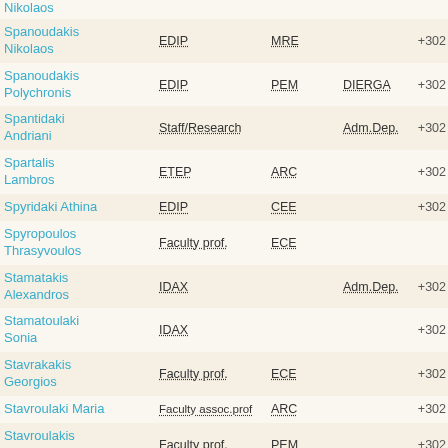| Name | Role | Dept | Unit | Phone |
| --- | --- | --- | --- | --- |
| Nikolaos |  |  |  |  |
| Spanoudakis Nikolaos | EDIP | MRE |  | +302 |
| Spanoudakis Polychronis | EDIP | PEM | DIERGA | +302 |
| Spantidaki Andriani | Staff/Research |  | Adm.Dep. | +302 |
| Spartalis Lambros | ETEP | ARC |  | +302 |
| Spyridaki Athina | EDIP | CEE |  | +302 |
| Spyropoulos Thrasyvoulos | Faculty prof. | ECE |  |  |
| Stamatakis Alexandros | IDAX |  | Adm.Dep. | +302 |
| Stamatoulaki Sonia | IDAX |  |  | +302 |
| Stavrakakis Georgios | Faculty prof. | ECE |  | +302 |
| Stavroulaki Maria | Faculty assoc.prof | ARC |  | +302 |
| Stavroulakis Georgios | Faculty prof. | PEM |  | +302 |
| Stavr... |  |  |  |  |